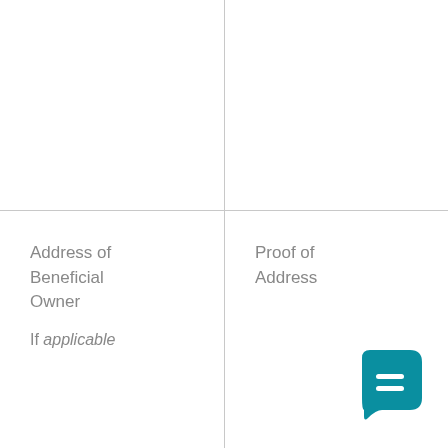| Address of Beneficial Owner
If applicable | Proof of Address |
| --- | --- |
|  |  |
[Figure (illustration): Teal rounded square chat bubble icon with white equal/chat symbol inside, positioned bottom-right corner]